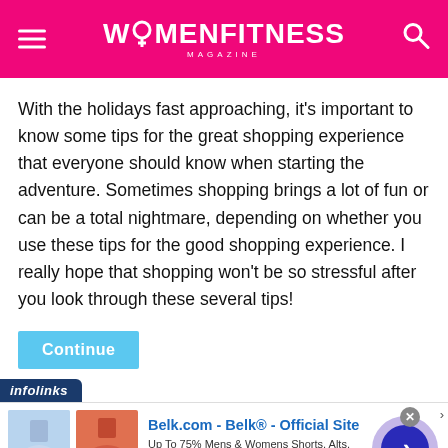WOMENFITNESS MAGAZINE
With the holidays fast approaching, it’s important to know some tips for the great shopping experience that everyone should know when starting the adventure. Sometimes shopping brings a lot of fun or can be a total nightmare, depending on whether you use these tips for the good shopping experience. I really hope that shopping won’t be so stressful after you look through these several tips!
Continue
[Figure (screenshot): Infolinks advertisement banner for Belk.com showing two clothing product images (floral shorts and coral skirt), ad text 'Belk.com - Belk® - Official Site', description 'Up To 75% Mens & Womens Shorts, Alts, Skirts & Swim', URL 'www.belk.com', and a purple navigation arrow button.]